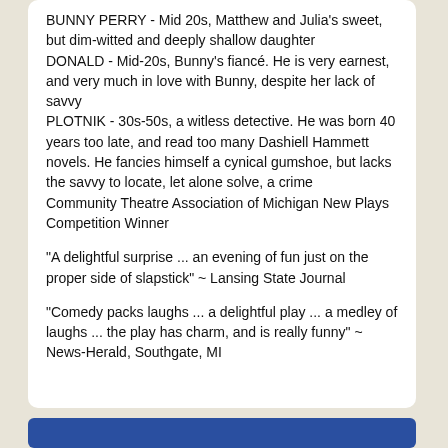BUNNY PERRY - Mid 20s, Matthew and Julia's sweet, but dim-witted and deeply shallow daughter
DONALD - Mid-20s, Bunny's fiancé. He is very earnest, and very much in love with Bunny, despite her lack of savvy
PLOTNIK - 30s-50s, a witless detective. He was born 40 years too late, and read too many Dashiell Hammett novels. He fancies himself a cynical gumshoe, but lacks the savvy to locate, let alone solve, a crime
Community Theatre Association of Michigan New Plays Competition Winner
"A delightful surprise ... an evening of fun just on the proper side of slapstick" ~ Lansing State Journal
"Comedy packs laughs ... a delightful play ... a medley of laughs ... the play has charm, and is really funny" ~ News-Herald, Southgate, MI